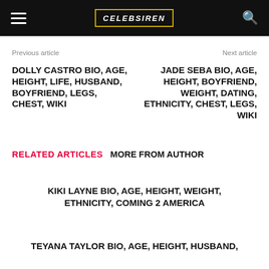CELEBSIREN
Previous article
Next article
DOLLY CASTRO BIO, AGE, HEIGHT, LIFE, HUSBAND, BOYFRIEND, LEGS, CHEST, WIKI
JADE SEBA BIO, AGE, HEIGHT, BOYFRIEND, WEIGHT, DATING, ETHNICITY, CHEST, LEGS, WIKI
RELATED ARTICLES MORE FROM AUTHOR
KIKI LAYNE BIO, AGE, HEIGHT, WEIGHT, ETHNICITY, COMING 2 AMERICA
TEYANA TAYLOR BIO, AGE, HEIGHT, HUSBAND,